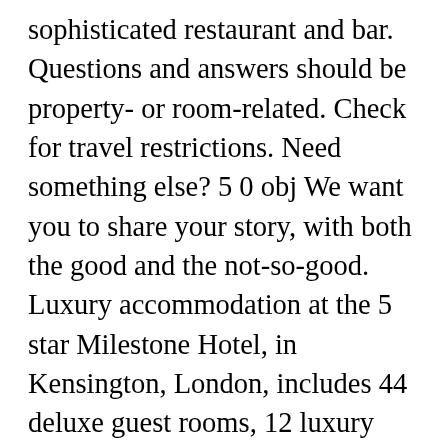sophisticated restaurant and bar. Questions and answers should be property- or room-related. Check for travel restrictions. Need something else? 5 0 obj We want you to share your story, with both the good and the not-so-good. Luxury accommodation at the 5 star Milestone Hotel, in Kensington, London, includes 44 deluxe guest rooms, 12 luxury suites, and six long-stay apartments. This beautifully renovated 19th-century building stands in a characteristic street in the heart of Rome's ancient historic center and provides luxurious rooms equipped with the utmost in modern conveniences and comfort. When guests stay at the property, they check out how quiet the room is, how friendly the staff...